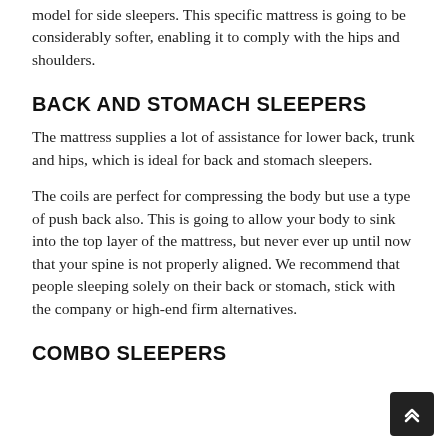model for side sleepers. This specific mattress is going to be considerably softer, enabling it to comply with the hips and shoulders.
BACK AND STOMACH SLEEPERS
The mattress supplies a lot of assistance for lower back, trunk and hips, which is ideal for back and stomach sleepers.
The coils are perfect for compressing the body but use a type of push back also. This is going to allow your body to sink into the top layer of the mattress, but never ever up until now that your spine is not properly aligned. We recommend that people sleeping solely on their back or stomach, stick with the company or high-end firm alternatives.
COMBO SLEEPERS